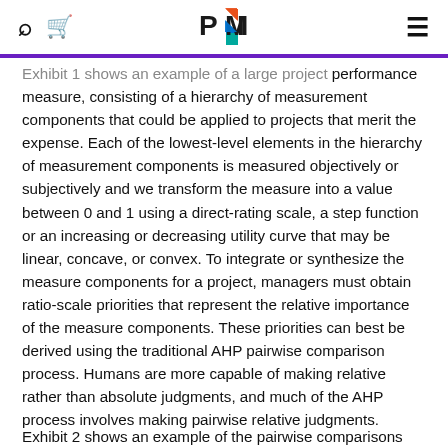PMI logo, search, cart, and menu icons
Exhibit 1 shows an example of a large project performance measure, consisting of a hierarchy of measurement components that could be applied to projects that merit the expense. Each of the lowest-level elements in the hierarchy of measurement components is measured objectively or subjectively and we transform the measure into a value between 0 and 1 using a direct-rating scale, a step function or an increasing or decreasing utility curve that may be linear, concave, or convex. To integrate or synthesize the measure components for a project, managers must obtain ratio-scale priorities that represent the relative importance of the measure components. These priorities can best be derived using the traditional AHP pairwise comparison process. Humans are more capable of making relative rather than absolute judgments, and much of the AHP process involves making pairwise relative judgments.
Exhibit 2 shows an example of the pairwise comparisons